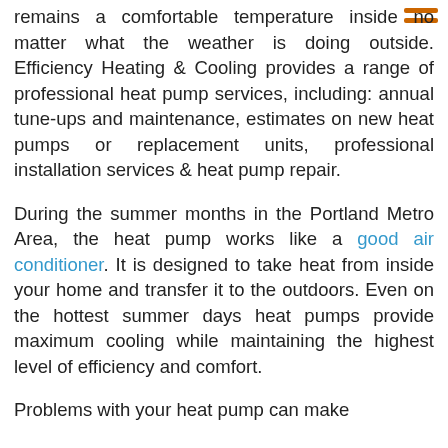remains a comfortable temperature inside no matter what the weather is doing outside. Efficiency Heating & Cooling provides a range of professional heat pump services, including: annual tune-ups and maintenance, estimates on new heat pumps or replacement units, professional installation services & heat pump repair.
During the summer months in the Portland Metro Area, the heat pump works like a good air conditioner. It is designed to take heat from inside your home and transfer it to the outdoors. Even on the hottest summer days heat pumps provide maximum cooling while maintaining the highest level of efficiency and comfort.
Problems with your heat pump can make